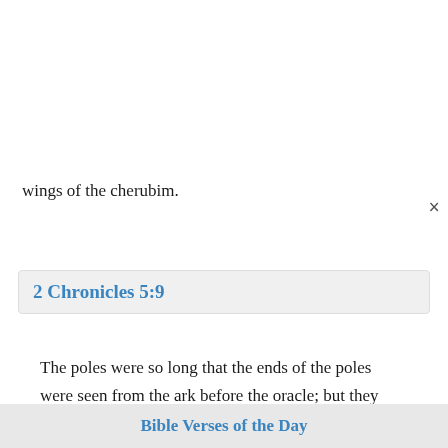wings of the cherubim.
2 Chronicles 5:9
The poles were so long that the ends of the poles were seen from the ark before the oracle; but they were not seen outside: and there it is to this day.
2 Samuel 16:23
The counsel of Ahithophel, which he gave in those days, was as if a man inquired at the oracle of
Bible Verses of the Day